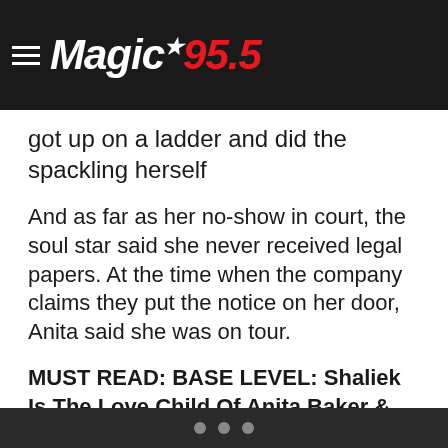Magic 95.5
The singer's attorney, Jamal Hamood, said his client wrote the contract and gave a check up front. Anita added that the job was never completed and executed poorly — so bad that she got up on a ladder and did the spackling herself
And as far as her no-show in court, the soul star said she never received legal papers. At the time when the company claims they put the notice on her door, Anita said she was on tour.
MUST READ: BASE LEVEL: Shaliek Is The Love Child Of Anita Baker & Sam Cooke
“WHATTT??!!” she wrote on Twitter after finding out the news. “Sittin’ in the kitchen watching this on TV. BIG time crazy. Atty on his way to TV Station. Devil sho is busy.”
Despite the issue, Anita said she’s keeping her head held high